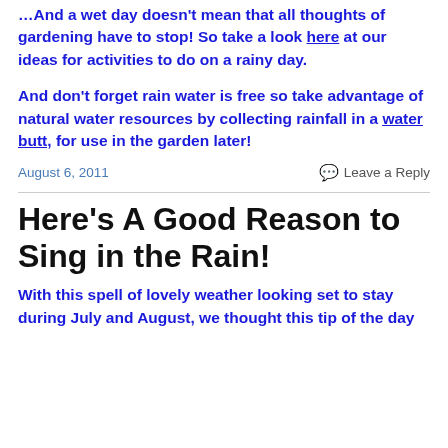…And a wet day doesn't mean that all thoughts of gardening have to stop!  So take a look here at our ideas for activities to do on a rainy day.
And don't forget rain water is free so take advantage of natural water resources by collecting rainfall in a water butt, for use in the garden later!
August 6, 2011
Leave a Reply
Here's A Good Reason to Sing in the Rain!
With this spell of lovely weather looking set to stay during July and August, we thought this tip of the day